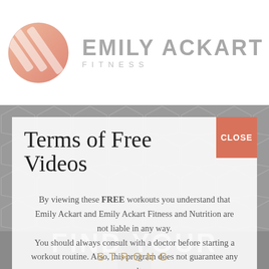[Figure (logo): Emily Ackart Fitness logo: circular orange/salmon gradient icon with diagonal lines, next to the text 'EMILY ACKART FITNESS']
Terms of Free Videos
By viewing these FREE workouts you understand that Emily Ackart and Emily Ackart Fitness and Nutrition are not liable in any way.
You should always consult with a doctor before starting a workout routine. Also, this program does not guarantee any results.
FIND YOUR
STRONG